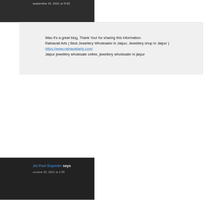septembre 10, 2021 at 5:53
Wao it's a great blog, Thank You! for sharing this information.
Ratnavali Arts ( Best Jewellery Wholesaler in Jaipur, Jewellery shop in Jaipur )
https://www.ratnavaliarts.com/
Jaipur jewellery wholesale online, jewellery wholesaler in jaipur
Jet Fuel Exporter says
octobre 20, 2021 at 1:59